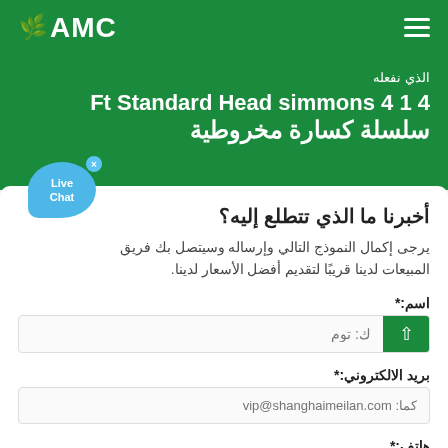AMC
الذي نفعله
Ft Standard Head simmons 4 1 4 سلسلة كسارة مخروطية
أخبرنا ما الذي تتطلع إليه؟
يرجى إكمال النموذج التالي وإرساله وسيتصل بك فريق المبيعات لدينا قريبًا لتقديم أفضل الأسعار لدينا.
اسم:*
ك: توم
بريد الالكتروني:*
كما: vip@shanghaimeilan.com
هاتف:*